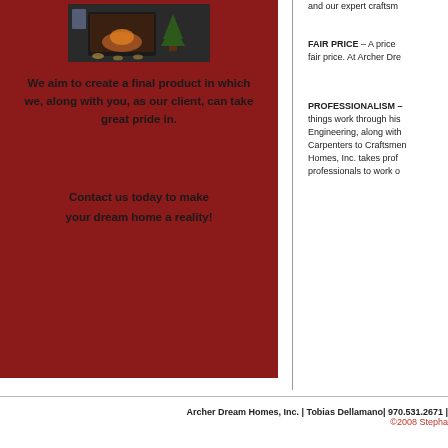[Figure (photo): Photo of a fireplace with Christmas tree and decorative elements on a dark background]
We aim to create a final product in which we, along with you, as our client, can take great pride in.
Contact us today to make your dream home a reality!
and our expert craftsm
FAIR PRICE – A price fair price. At Archer Dre
PROFESSIONALISM – things work through his Engineering, along with Carpenters to Craftsmen Homes, Inc. takes prof professionals to work o
Archer Dream Homes, Inc. | Tobias Dellamano| 970.531.2671 | ©2008 Stepha